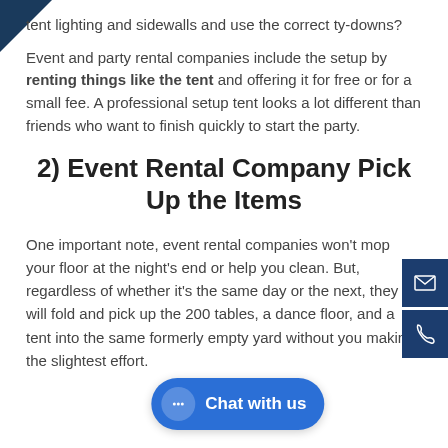tent lighting and sidewalls and use the correct ty-downs?
Event and party rental companies include the setup by renting things like the tent and offering it for free or for a small fee. A professional setup tent looks a lot different than friends who want to finish quickly to start the party.
2) Event Rental Company Pick Up the Items
One important note, event rental companies won't mop your floor at the night's end or help you clean. But, regardless of whether it's the same day or the next, they will fold and pick up the 200 tables, a dance floor, and a tent into the same formerly empty yard without you making the slightest effort.